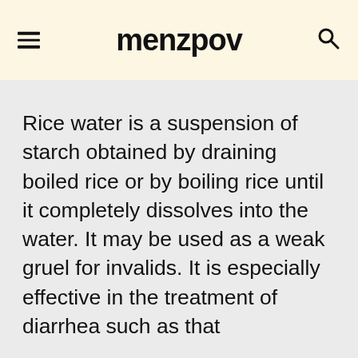menzpov
Rice water is a suspension of starch obtained by draining boiled rice or by boiling rice until it completely dissolves into the water. It may be used as a weak gruel for invalids. It is especially effective in the treatment of diarrhea such as that